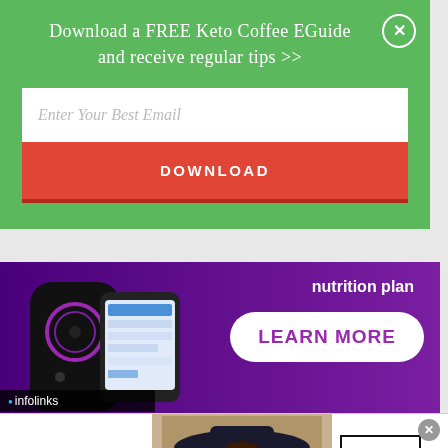Download a FREE Keto Coffee EGuide and receive regular tips >>
[Figure (screenshot): Email input field with placeholder text 'Enter Your Best Email']
DOWNLOAD
[Figure (photo): Purple background advertisement with smart speaker device and phone showing app, with 'nutrition plan' text and a LEARN MORE button]
[Figure (logo): Infolinks logo bar]
[Figure (screenshot): Bloomingdales advertisement banner: logo, 'View Today's Top Deals!' text, model photo wearing wide-brim hat, SHOP NOW button]